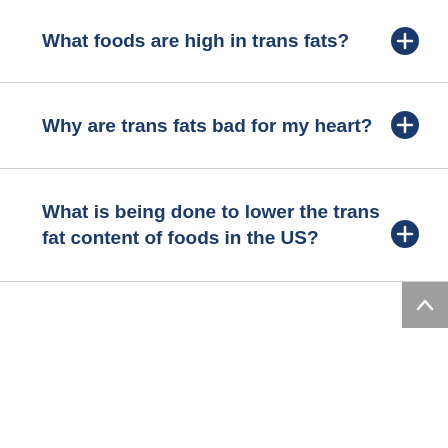What foods are high in trans fats?
Why are trans fats bad for my heart?
What is being done to lower the trans fat content of foods in the US?